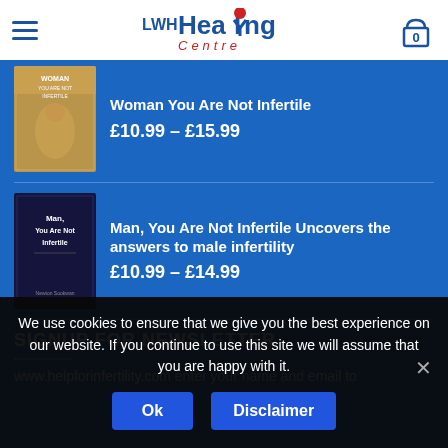LWH Healing Centre — navigation header with hamburger menu and cart showing 0
[Figure (screenshot): Book cover: Woman You Are Not Infertile, gold/brown coloring]
Woman You Are Not Infertile
£10.99 – £15.99
[Figure (screenshot): Book cover: Man, You Are Not Infertile, dark navy blue coloring]
Man, You Are Not Infertile Uncovers the answers to male infertility
£10.99 – £14.99
SIGNUP FOR NEWSLETTER
www.helpforinfertility.com enter your name and email to
We use cookies to ensure that we give you the best experience on our website. If you continue to use this site we will assume that you are happy with it.
Ok
Disclaimer